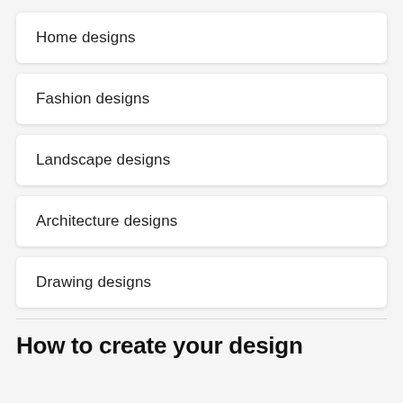Home designs
Fashion designs
Landscape designs
Architecture designs
Drawing designs
How to create your design